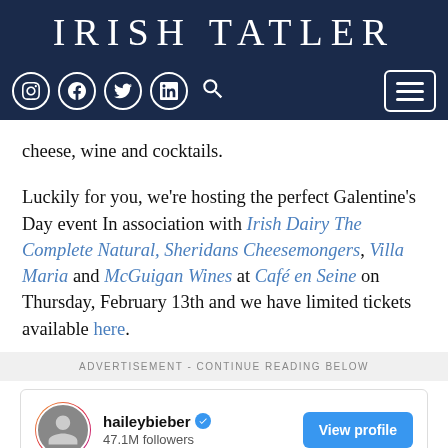IRISH TATLER
cheese, wine and cocktails.
Luckily for you, we're hosting the perfect Galentine's Day event In association with Irish Dairy The Complete Natural, Sheridans Cheesemongers, Villa Maria and McGuigan Wines at Café en Seine on Thursday, February 13th and we have limited tickets available here.
ADVERTISEMENT - CONTINUE READING BELOW
[Figure (screenshot): Instagram profile embed for haileybieber with 47.1M followers, View profile button, and partial photo below]